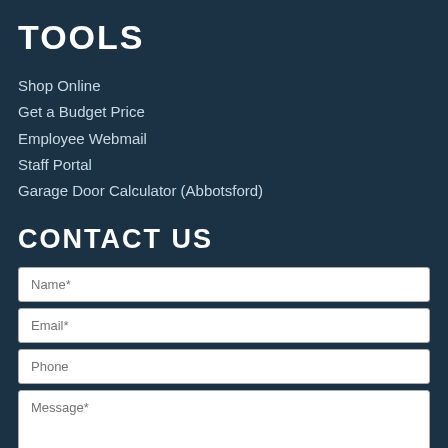TOOLS
Shop Online
Get a Budget Price
Employee Webmail
Staff Portal
Garage Door Calculator (Abbotsford)
CONTACT US
Name*
Email*
Phone
Message*
Captcha Code*
[Figure (other): Captcha image showing distorted text 'wrqq']